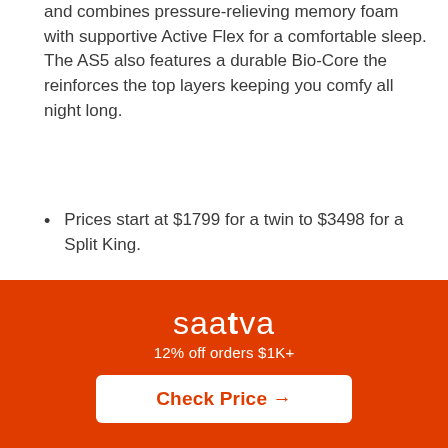and combines pressure-relieving memory foam with supportive Active Flex for a comfortable sleep. The AS5 also features a durable Bio-Core the reinforces the top layers keeping you comfy all night long.
Prices start at $1799 for a twin to $3498 for a Split King.
Side-By-Side Comparison
Both Casper and Amerisleep offer affordable, sustainable mattresses with brand-unique cooling and comfort technologies. Both brands offer free shipping to 48 states, and provide a 100-day sleep trial to make
saatva
12% off orders $1K+
Check Price →